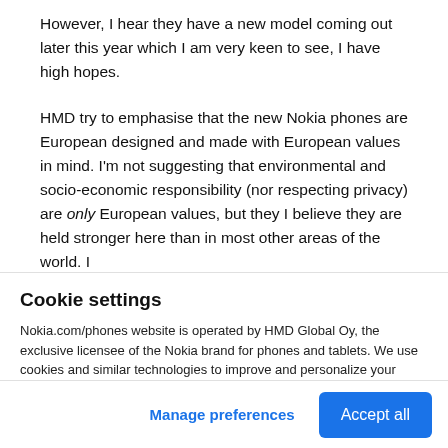However, I hear they have a new model coming out later this year which I am very keen to see, I have high hopes.

HMD try to emphasise that the new Nokia phones are European designed and made with European values in mind. I'm not suggesting that environmental and socio-economic responsibility (nor respecting privacy) are only European values, but they I believe they are held stronger here than in most other areas of the world. I …
Cookie settings
Nokia.com/phones website is operated by HMD Global Oy, the exclusive licensee of the Nokia brand for phones and tablets. We use cookies and similar technologies to improve and personalize your experience and to display ads. By clicking "Accept all", you agree to the use of cookies and similar technologies. You can change your settings at any time by selecting "Cookie Settings" at the bottom of the site. Learn more about our cookie